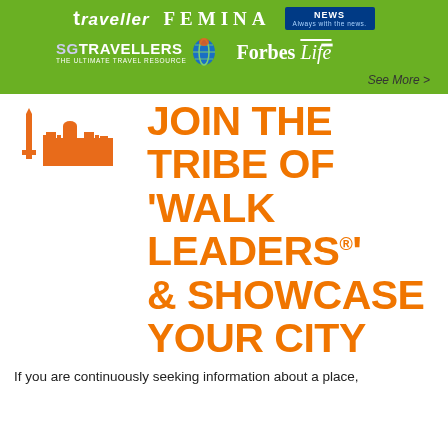[Figure (logo): Green header bar with media partner logos: Traveller, FEMINA, news logo, SG Travellers (The Ultimate Travel Resource), Forbes Life]
See More >
[Figure (illustration): Orange silhouette of an Indian cityscape with a minaret/pillar and temple/fort]
JOIN THE TRIBE OF 'WALK LEADERS®' & SHOWCASE YOUR CITY
If you are continuously seeking information about a place,